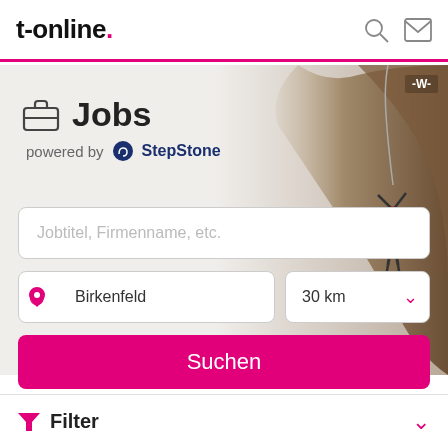t-online.
[Figure (screenshot): Hero banner with rock climber image on right, Jobs section header with briefcase icon and StepStone logo on left, search fields for job title and location with 30km radius selector, Suchen (Search) button in magenta]
Jobtitel, Firmenname, etc.
Birkenfeld  30 km
Suchen
Filter